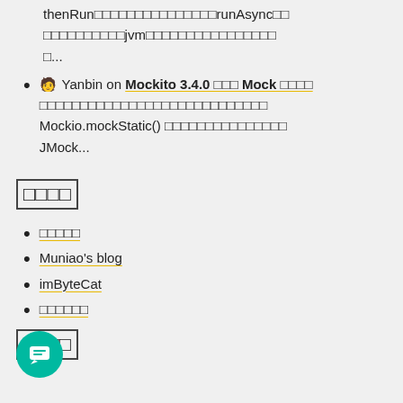thenRun□□□□□□□□□□□□□□□runAsync□□
□□□□□□□□□□jvm□□□□□□□□□□□□□□□□
□...
🧑 Yanbin on Mockito 3.4.0 □□□ Mock □□□□
□□□□□□□□□□□□□□□□□□□□□□□□□□□□
Mockio.mockStatic() □□□□□□□□□□□□□□□
JMock...
□□□□
□□□□□
Muniao's blog
imByteCat
□□□□□□
□□□□